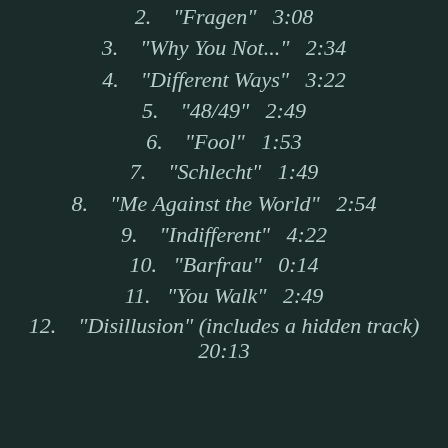2.    "Fragen"   3:08
3.    "Why You Not..."   2:34
4.    "Different Ways"   3:22
5.    "48/49"   2:49
6.    "Fool"   1:53
7.    "Schlecht"   1:49
8.    "Me Against the World"   2:54
9.    "Indifferent"   4:22
10.    "Barfrau"   0:14
11.    "You Walk"   2:49
12.    "Disillusion" (includes a hidden track)   20:13